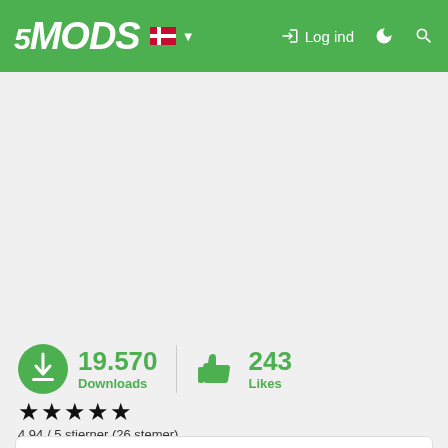5MODS — Log ind
19.570 Downloads  243 Likes
4.94 / 5 stjerner (26 stemer)
****This mod made by a request for movie making and allow for public***

This mod add an abandoned city scene at Downtown.
(Not including peds)